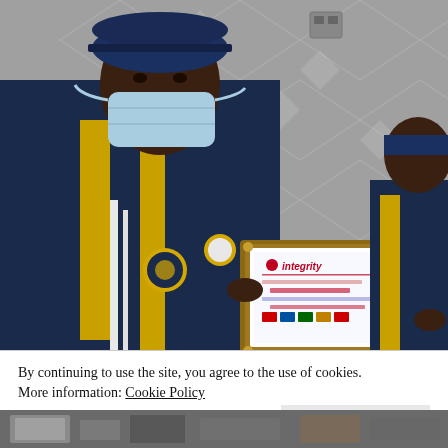[Figure (photo): A person wearing academic regalia (navy blue and gold graduation gown with hood) and a light blue face mask, holding a framed certificate that reads 'integrity' with logos. Background is a metallic diamond-patterned wall. Another person in similar regalia is partially visible on the right.]
By continuing to use the site, you agree to the use of cookies. More information: Cookie Policy
Close and accept
[Figure (photo): Partial view of another photo at the bottom of the page, showing books or documents and people.]